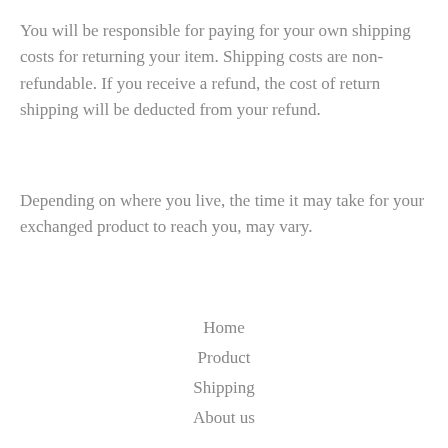You will be responsible for paying for your own shipping costs for returning your item. Shipping costs are non-refundable. If you receive a refund, the cost of return shipping will be deducted from your refund.
Depending on where you live, the time it may take for your exchanged product to reach you, may vary.
Home
Product
Shipping
About us